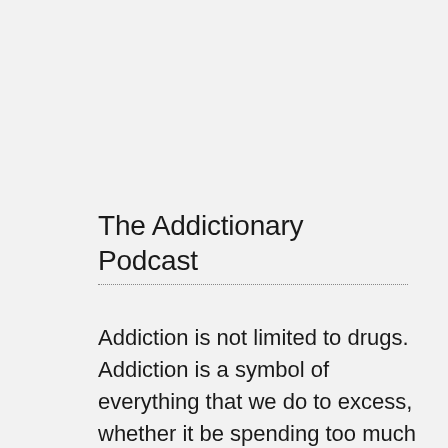The Addictionary Podcast
Addiction is not limited to drugs. Addiction is a symbol of everything that we do to excess, whether it be spending too much time in a casino, or on the phone. Whatever it is that you